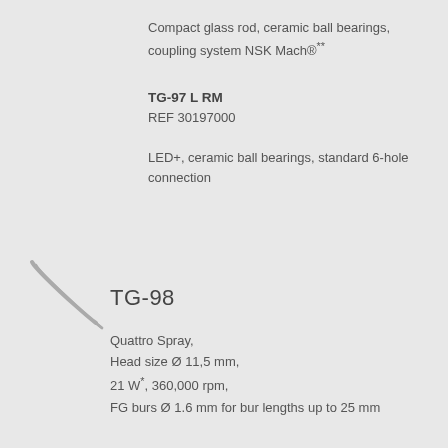Compact glass rod, ceramic ball bearings, coupling system NSK Mach®**
TG-97 L RM
REF 30197000
LED+, ceramic ball bearings, standard 6-hole connection
[Figure (illustration): Dental handpiece instrument illustration - a curved angular handpiece tip]
TG-98
Quattro Spray,
Head size Ø 11,5 mm,
21 W*, 360,000 rpm,
FG burs Ø 1.6 mm for bur lengths up to 25 mm